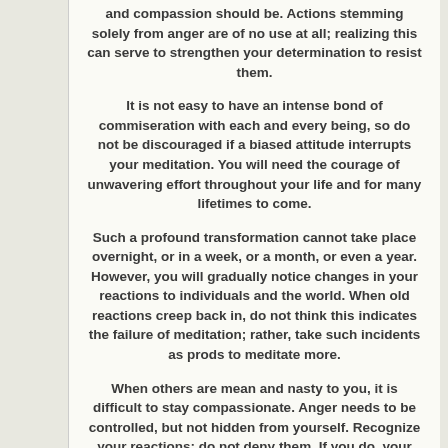and compassion should be. Actions stemming solely from anger are of no use at all; realizing this can serve to strengthen your determination to resist them.
It is not easy to have an intense bond of commiseration with each and every being, so do not be discouraged if a biased attitude interrupts your meditation. You will need the courage of unwavering effort throughout your life and for many lifetimes to come.
Such a profound transformation cannot take place overnight, or in a week, or a month, or even a year. However, you will gradually notice changes in your reactions to individuals and the world. When old reactions creep back in, do not think this indicates the failure of meditation; rather, take such incidents as prods to meditate more.
When others are mean and nasty to you, it is difficult to stay compassionate. Anger needs to be controlled, but not hidden from yourself. Recognize your reactions; do not deny them. If you do, your compassion will be superficial.